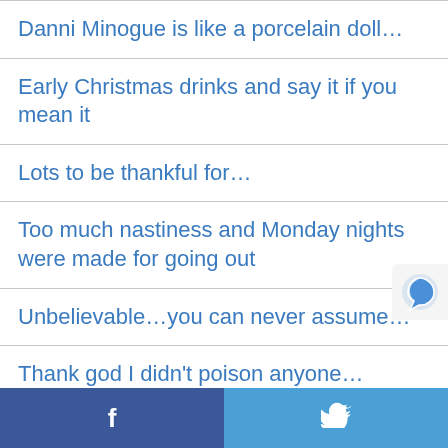Danni Minogue is like a porcelain doll…
Early Christmas drinks and say it if you mean it
Lots to be thankful for…
Too much nastiness and Monday nights were made for going out
Unbelievable…you can never assume…
Thank god I didn't poison anyone…
Sex myths, sex talk and looking after yourself
f  [twitter bird icon]